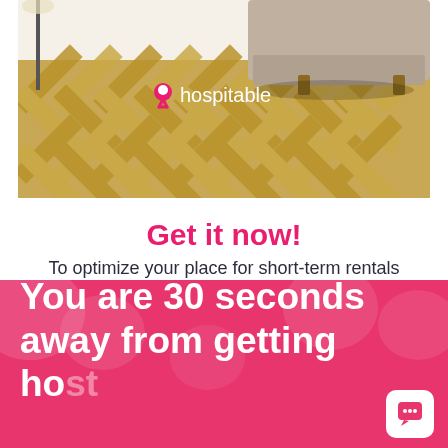[Figure (photo): A room interior photo showing a herringbone pattern wooden parquet floor with a grey sofa and a lamp stand. The Hospitable brand logo is overlaid on the photo in white text with a pink location pin icon.]
Get it now!
To optimize your place for short-term rentals
You are 30 seconds away from getting ho...